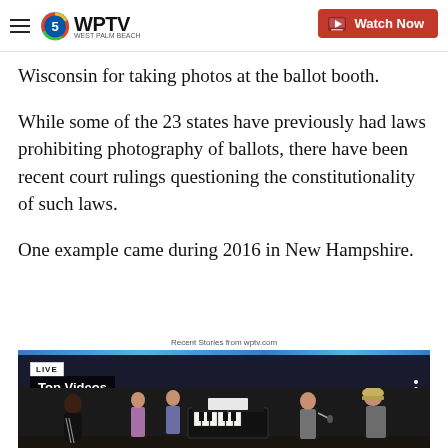WPTV — Watch Now
Wisconsin for taking photos at the ballot booth.
While some of the 23 states have previously had laws prohibiting photography of ballots, there have been recent court rulings questioning the constitutionality of such laws.
One example came during 2016 in New Hampshire.
Recent Stories from wptv.com
[Figure (screenshot): WPTV video widget showing 'LIVE' badge, 'Top Videos' label, and a video thumbnail of people gathered around a piano in a dark room with a man in a tan cap interviewing a woman.]